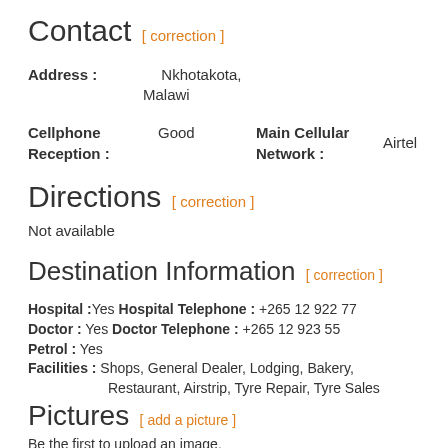Contact [ correction ]
Address : Nkhotakota, Malawi
Cellphone Reception : Good    Main Cellular Network : Airtel
Directions [ correction ]
Not available
Destination Information [ correction ]
Hospital : Yes  Hospital Telephone : +265 12 922 77
Doctor :  Yes  Doctor Telephone :   +265 12 923 55
Petrol : Yes
Facilities : Shops, General Dealer, Lodging, Bakery, Restaurant, Airstrip, Tyre Repair, Tyre Sales
Pictures [ add a picture ]
Be the first to upload an image.